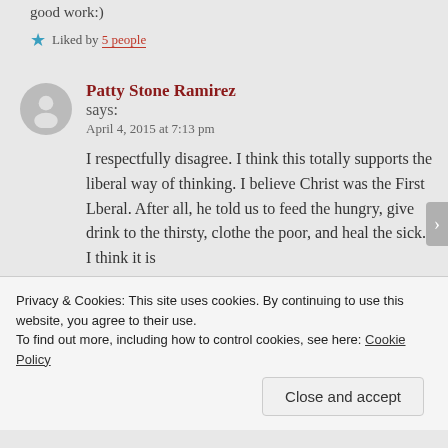good work:)
★ Liked by 5 people
Patty Stone Ramirez says:
April 4, 2015 at 7:13 pm
I respectfully disagree. I think this totally supports the liberal way of thinking. I believe Christ was the First Lberal. After all, he told us to feed the hungry, give drink to the thirsty, clothe the poor, and heal the sick. I think it is
Privacy & Cookies: This site uses cookies. By continuing to use this website, you agree to their use.
To find out more, including how to control cookies, see here: Cookie Policy
Close and accept